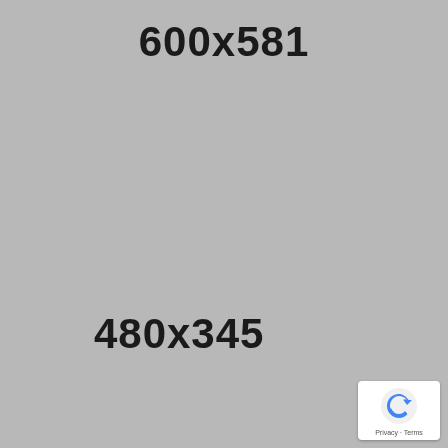[Figure (other): Gray placeholder image with dimensions label '600x581' at top center, '480x345' at lower left area, and a reCAPTCHA badge in the bottom-right corner.]
600x581
480x345
[Figure (logo): Google reCAPTCHA badge with blue arrow logo icon, and 'Privacy - Terms' text below]